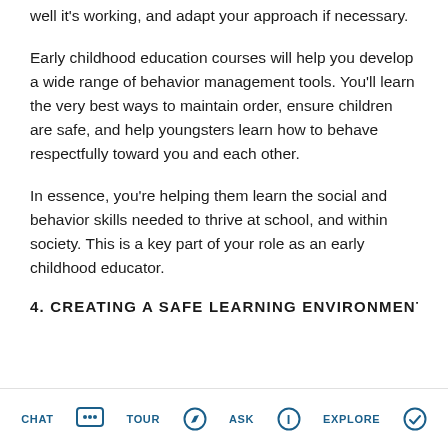well it's working, and adapt your approach if necessary.
Early childhood education courses will help you develop a wide range of behavior management tools. You'll learn the very best ways to maintain order, ensure children are safe, and help youngsters learn how to behave respectfully toward you and each other.
In essence, you're helping them learn the social and behavior skills needed to thrive at school, and within society. This is a key part of your role as an early childhood educator.
4. CREATING A SAFE LEARNING ENVIRONMENT
CHAT  TOUR  ASK  EXPLORE